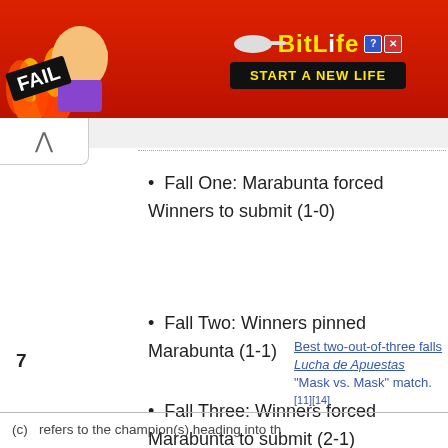[Figure (screenshot): BitLife advertisement banner with FAIL text and 'START A NEW LIFE' button on red background]
Fall One: Marabunta forced Winners to submit (1-0)
Fall Two: Winners pinned Marabunta (1-1)
Fall Three: Winners forced Marabunta to submit (2-1)
Best two-out-of-three falls Lucha de Apuestas "Mask vs. Mask" match.[11][14]
(c) refers to the champion(s) heading into the